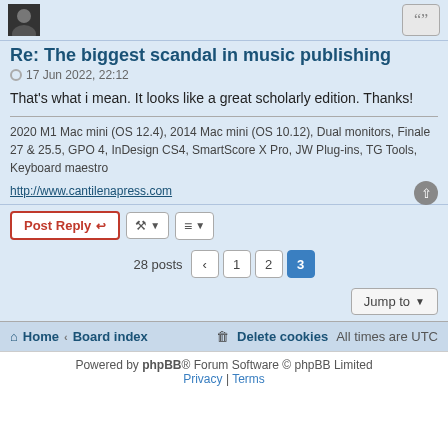Re: The biggest scandal in music publishing
17 Jun 2022, 22:12
That's what i mean. It looks like a great scholarly edition. Thanks!
2020 M1 Mac mini (OS 12.4), 2014 Mac mini (OS 10.12), Dual monitors, Finale 27 & 25.5, GPO 4, InDesign CS4, SmartScore X Pro, JW Plug-ins, TG Tools, Keyboard maestro
http://www.cantilenapress.com
Post Reply
28 posts  1  2  3
Jump to
Home ‹ Board index   Delete cookies  All times are UTC
Powered by phpBB® Forum Software © phpBB Limited  Privacy | Terms